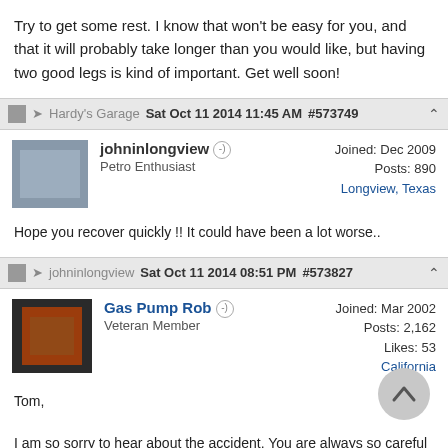Try to get some rest. I know that won't be easy for you, and that it will probably take longer than you would like, but having two good legs is kind of important. Get well soon!
Hardy's Garage  Sat Oct 11 2014 11:45 AM  #573749
johninlongview
Petro Enthusiast
Joined: Dec 2009
Posts: 890
Longview, Texas
Hope you recover quickly !! It could have been a lot worse..
johninlongview  Sat Oct 11 2014 08:51 PM  #573827
Gas Pump Rob
Veteran Member
Joined: Mar 2002
Posts: 2,162
Likes: 53
California
Tom,
I am so sorry to hear about the accident. You are always so careful